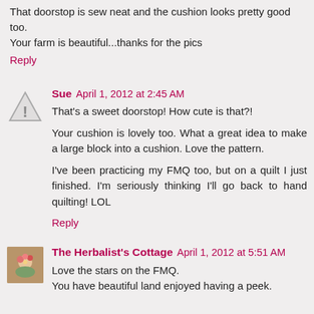That doorstop is sew neat and the cushion looks pretty good too.
Your farm is beautiful...thanks for the pics
Reply
Sue  April 1, 2012 at 2:45 AM
That's a sweet doorstop! How cute is that?!

Your cushion is lovely too. What a great idea to make a large block into a cushion. Love the pattern.

I've been practicing my FMQ too, but on a quilt I just finished. I'm seriously thinking I'll go back to hand quilting! LOL
Reply
The Herbalist's Cottage  April 1, 2012 at 5:51 AM
Love the stars on the FMQ.
You have beautiful land enjoyed having a peek.